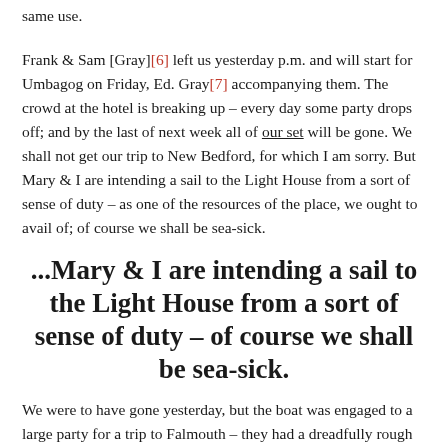same use.
Frank & Sam [Gray][6] left us yesterday p.m. and will start for Umbagog on Friday, Ed. Gray[7] accompanying them. The crowd at the hotel is breaking up – every day some party drops off; and by the last of next week all of our set will be gone. We shall not get our trip to New Bedford, for which I am sorry. But Mary & I are intending a sail to the Light House from a sort of sense of duty – as one of the resources of the place, we ought to avail of; of course we shall be sea-sick.
...Mary & I are intending a sail to the Light House from a sort of sense of duty – of course we shall be sea-sick.
We were to have gone yesterday, but the boat was engaged to a large party for a trip to Falmouth – they had a dreadfully rough time – ladies frightened and sea sick and